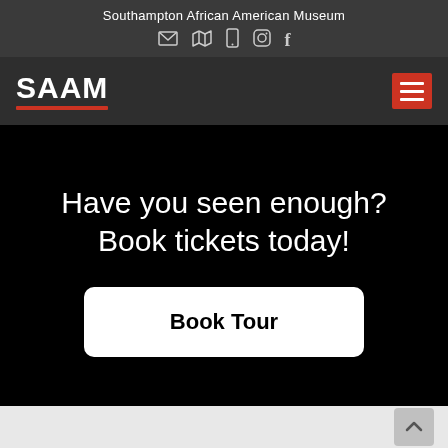Southampton African American Museum
[Figure (screenshot): Navigation bar with SAAM logo and hamburger menu icon on dark background]
Have you seen enough? Book tickets today!
Book Tour